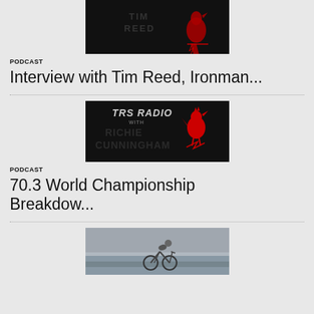[Figure (logo): Tim Reed podcast logo on black background with rooster icon]
PODCAST
Interview with Tim Reed, Ironman...
[Figure (logo): TRS Radio with Richie Cunningham logo on black background with red rooster icon]
PODCAST
70.3 World Championship Breakdow...
[Figure (photo): Cyclist in a triathlon race, riding on a road with water/coastline in background under overcast sky]